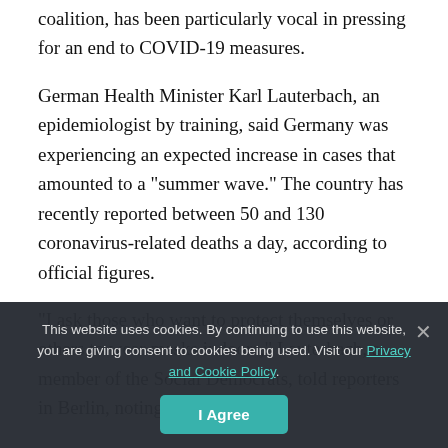coalition, has been particularly vocal in pressing for an end to COVID-19 measures.
German Health Minister Karl Lauterbach, an epidemiologist by training, said Germany was experiencing an expected increase in cases that amounted to a "summer wave." The country has recently reported between 50 and 130 coronavirus-related deaths a day, according to official figures.
"I ask those who want to protect themselves or others to wear masks indoors," Lauterbach, a member of the Social Democrats, told reporters in Berlin, noting that cases could
This website uses cookies. By continuing to use this website, you are giving consent to cookies being used. Visit our Privacy and Cookie Policy.